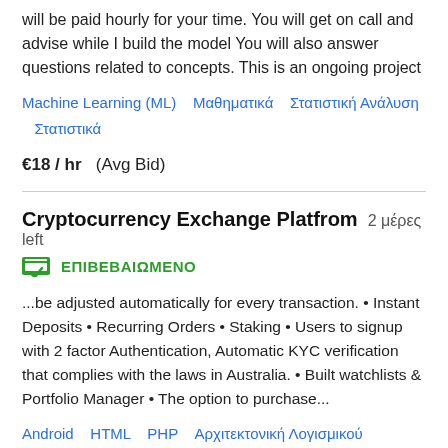will be paid hourly for your time. You will get on call and advise while I build the model You will also answer questions related to concepts. This is an ongoing project
Machine Learning (ML)   Μαθηματικά   Στατιστική Ανάλυση   Στατιστικά
€18 / hr   (Avg Bid)
Cryptocurrency Exchange Platfrom   2 μέρες left
ΕΠΙΒΕΒΑΙΩΜΕΝΟ
...be adjusted automatically for every transaction. • Instant Deposits • Recurring Orders • Staking • Users to signup with 2 factor Authentication, Automatic KYC verification that complies with the laws in Australia. • Built watchlists & Portfolio Manager • The option to purchase...
Android   HTML   PHP   Αρχιτεκτονική Λογισμικού   Σχεδιασμός Ιστοσελίδας
€15066   (Avg Bid)